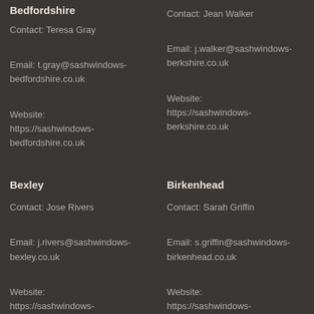Bedfordshire
Contact: Teresa Gray

Email: t.gray@sashwindows-bedfordshire.co.uk

Website: https://sashwindows-bedfordshire.co.uk
Contact: Jean Walker

Email: j.walker@sashwindows-berkshire.co.uk

Website: https://sashwindows-berkshire.co.uk
Bexley
Birkenhead
Contact: Jose Rivers

Email: j.rivers@sashwindows-bexley.co.uk

Website: https://sashwindows-bexley.co.uk
Contact: Sarah Griffin

Email: s.griffin@sashwindows-birkenhead.co.uk

Website: https://sashwindows-birkenhead.co.uk